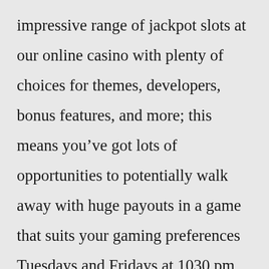impressive range of jackpot slots at our online casino with plenty of choices for themes, developers, bonus features, and more; this means you've got lots of opportunities to potentially walk away with huge payouts in a game that suits your gaming preferences Tuesdays and Fridays at 1030 pm MAXMILLIONS are additional 1 million Anyone getting 17 games earns Ksh100 million and above Here is a list of